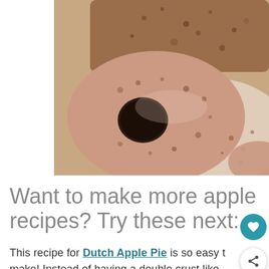[Figure (photo): Close-up photo of apple cider donuts coated in cinnamon sugar on a light surface. A ring donut with a hole is in the foreground, and a rectangular donut is visible in the background.]
Want to make more apple recipes? Try these next:
This recipe for Dutch Apple Pie is so easy to make! Instead of having a double crust like a